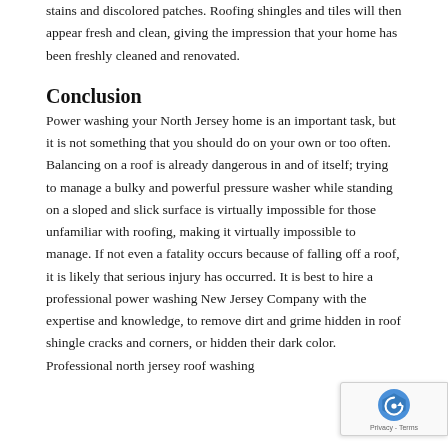stains and discolored patches. Roofing shingles and tiles will then appear fresh and clean, giving the impression that your home has been freshly cleaned and renovated.
Conclusion
Power washing your North Jersey home is an important task, but it is not something that you should do on your own or too often. Balancing on a roof is already dangerous in and of itself; trying to manage a bulky and powerful pressure washer while standing on a sloped and slick surface is virtually impossible for those unfamiliar with roofing, making it virtually impossible to manage. If not even a fatality occurs because of falling off a roof, it is likely that serious injury has occurred. It is best to hire a professional power washing New Jersey Company with the expertise and knowledge, to remove dirt and grime hidden in roof shingle cracks and corners, or hidden their dark color. Professional north jersey roof washing